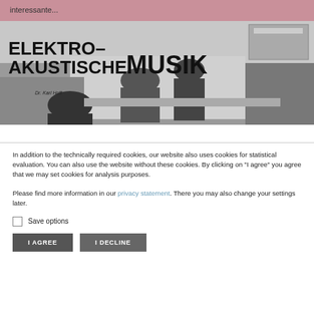interessante...
[Figure (photo): Black and white photograph of people working in a studio setting with text overlay reading 'ELEKTRO-AKUSTISCHE MUSIK' and attribution 'Dr. Karl Hoff']
In addition to the technically required cookies, our website also uses cookies for statistical evaluation. You can also use the website without these cookies. By clicking on "I agree" you agree that we may set cookies for analysis purposes.

Please find more information in our privacy statement. There you may also change your settings later.
Save options
I AGREE
I DECLINE